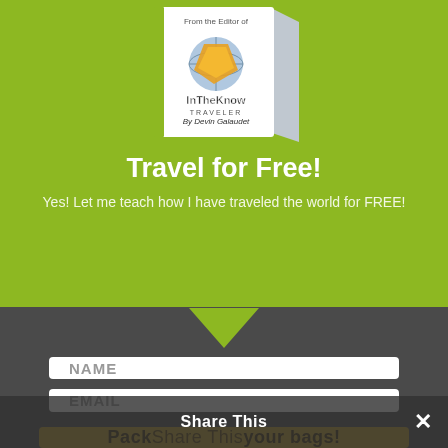[Figure (illustration): Book cover for InTheKnow Traveler, with text 'From the Editor of' at top, logo with globe and orange/yellow diamond shape, 'InTheKnow TRAVELER' title, 'By Devin Galaudet' at bottom. Book shown at angle on green background.]
Travel for Free!
Yes! Let me teach how I have traveled the world for FREE!
NAME
EMAIL
Pack your bags!
Share This